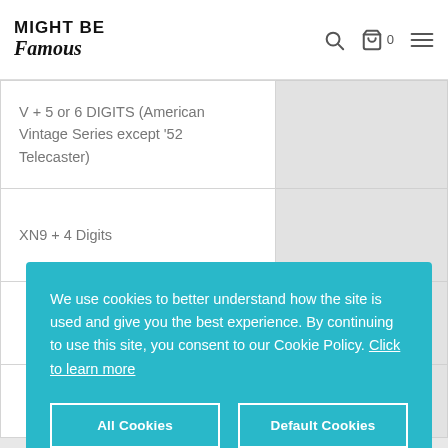MIGHT BE Famous
| Serial / Code |  |
| --- | --- |
| V + 5 or 6 DIGITS (American Vintage Series except '52 Telecaster) |  |
| XN9 + 4 Digits |  |
|  |  |
We use cookies to better understand how the site is used and give you the best experience. By continuing to use this site, you consent to our Cookie Policy. Click to learn more
All Cookies | Default Cookies